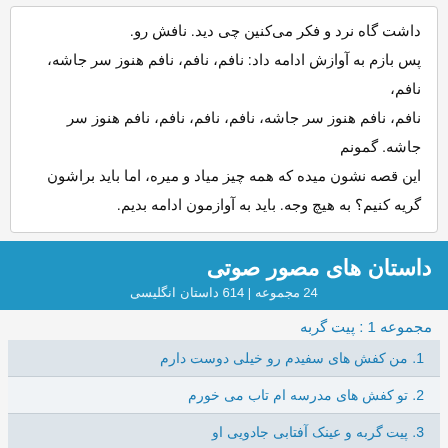داشت گاه نرد و فکر می‌کنین چی دید. نافش رو. پس بازم به آوازش ادامه داد: نافم، نافم، نافم هنوز سر جاشه، نافم، نافم، نافم، نافم هنوز سر جاشه، نافم، نافم، نافم، نافم هنوز سر جاشه، نافم، نافم، نافم هنوز سر جاشه. گمونم این قصه نشون میده که همه چیز میاد و میره، اما باید براشون گریه کنیم؟ به هیچ وجه. باید به آوازمون ادامه بدیم.
داستان های مصور صوتی
24 مجموعه | 614 داستان انگلیسی
مجموعه 1 : پیت گربه
1. من کفش های سفیدم رو خیلی دوست دارم
2. تو کفش های مدرسه ام تاب می خورم
3. پیت گربه و عینک آفتابی جادویی او
4. یک حیوان خانگی برای پیت
5. پیت خانه‌شیر